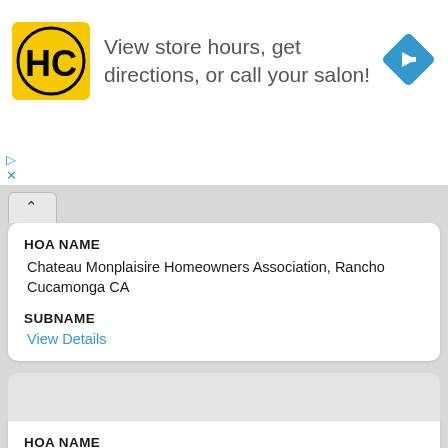[Figure (screenshot): Advertisement banner: HC salon logo, text 'View store hours, get directions, or call your salon!', blue diamond navigation arrow icon]
HOA NAME
Chateau Monplaisire Homeowners Association, Rancho Cucamonga CA

SUBNAME
View Details
HOA NAME
Chateau Osborne Homeowners Association, Upland CA

SUBNAME
View Details